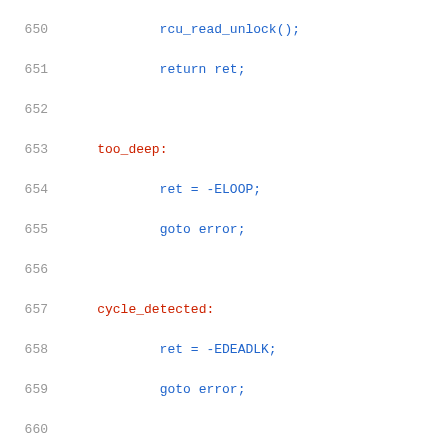Source code listing lines 650-670 showing C kernel code for keyring cycle detection and disposal functions